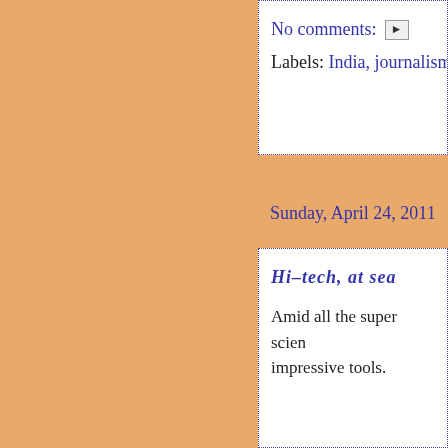No comments:
Labels: India, journalism,
Sunday, April 24, 2011
Hi-tech, at sea
Amid all the super scien impressive tools.